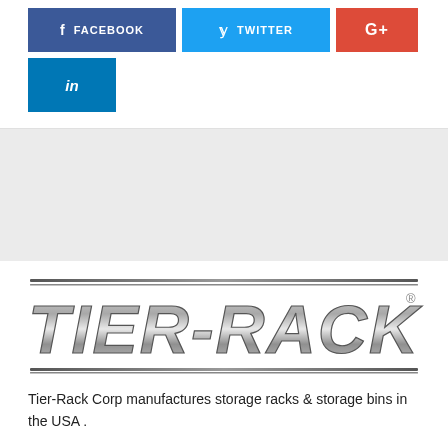[Figure (logo): Social media share buttons: Facebook (dark blue), Twitter (cyan), Google+ (red), LinkedIn (dark blue)]
[Figure (logo): Tier-Rack logo in metallic silver italic lettering with horizontal lines above and below]
Tier-Rack Corp manufactures storage racks & storage bins in the USA .